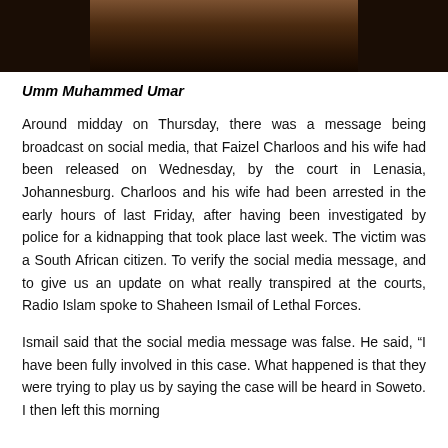[Figure (photo): Partial photograph of a person, cropped at top of page, dark background]
Umm Muhammed Umar
Around midday on Thursday, there was a message being broadcast on social media, that Faizel Charloos and his wife had been released on Wednesday, by the court in Lenasia, Johannesburg. Charloos and his wife had been arrested in the early hours of last Friday, after having been investigated by police for a kidnapping that took place last week. The victim was a South African citizen. To verify the social media message, and to give us an update on what really transpired at the courts, Radio Islam spoke to Shaheen Ismail of Lethal Forces.
Ismail said that the social media message was false. He said, “I have been fully involved in this case. What happened is that they were trying to play us by saying the case will be heard in Soweto. I then left this morning